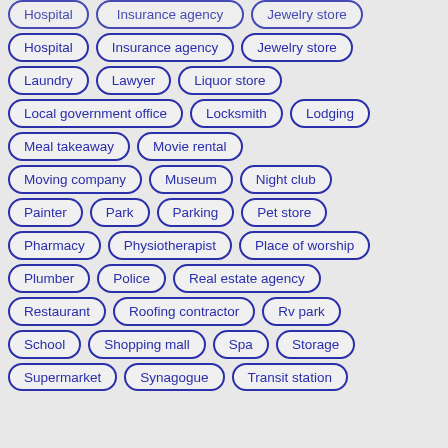Hospital
Insurance agency
Jewelry store
Laundry
Lawyer
Liquor store
Local government office
Locksmith
Lodging
Meal takeaway
Movie rental
Moving company
Museum
Night club
Painter
Park
Parking
Pet store
Pharmacy
Physiotherapist
Place of worship
Plumber
Police
Real estate agency
Restaurant
Roofing contractor
Rv park
School
Shopping mall
Spa
Storage